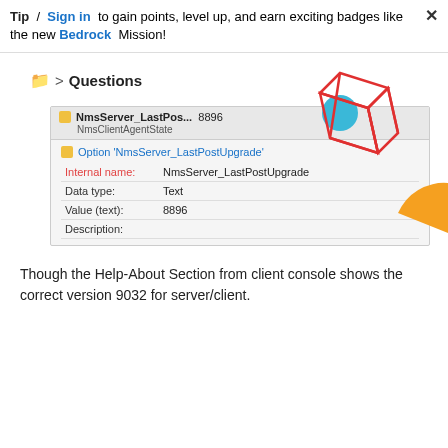Tip / Sign in to gain points, level up, and earn exciting badges like the new Bedrock Mission!
Questions
[Figure (screenshot): Screenshot of NmsServer_LastPostUpgrade option panel showing Internal name: NmsServer_LastPostUpgrade, Data type: Text, Value (text): 8896, Description: (empty)]
Though the Help-About Section from client console shows the correct version 9032 for server/client.